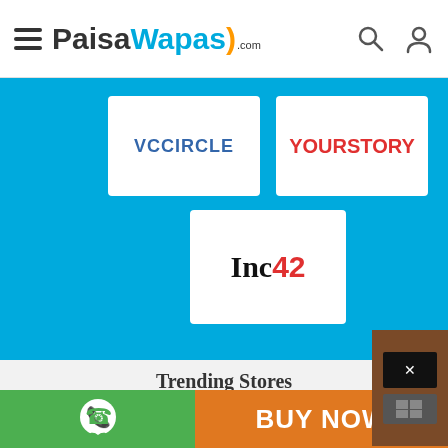[Figure (logo): PaisaWapas.com website header with hamburger menu, logo, search icon, and user icon]
[Figure (logo): VCCircle logo on white card]
[Figure (logo): YourStory logo on white card]
[Figure (logo): Inc42 logo on white card]
Trending Stores
[Figure (logo): Amazon.in logo]
[Figure (logo): Myntra logo]
[Figure (logo): AJIO logo]
[Figure (logo): Tata CLiQ logo]
[Figure (logo): XYXX logo]
[Figure (logo): Dell logo]
[Figure (screenshot): Bottom bar with WhatsApp icon (green) and BUY NOW button (orange)]